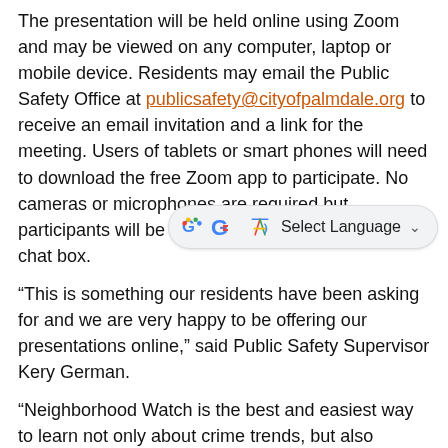The presentation will be held online using Zoom and may be viewed on any computer, laptop or mobile device. Residents may email the Public Safety Office at publicsafety@cityofpalmdale.org to receive an email invitation and a link for the meeting. Users of tablets or smart phones will need to download the free Zoom app to participate. No cameras or microphones are required but participants will be able to ask questions using the chat box.
“This is something our residents have been asking for and we are very happy to be offering our presentations online,” said Public Safety Supervisor Kery German.
“Neighborhood Watch is the best and easiest way to learn not only about crime trends, but also disaster preparedness, home security and personal safety issues,” said Public Safety Specialist Abner Diaz. “Join us for our online presentation and find out how forming a neighborhood watch group takes very little time and effort. It’s the perfect way to meet your neighbors, learn how to deter crime in your neighborhood, help prepare for a disaster and more.”